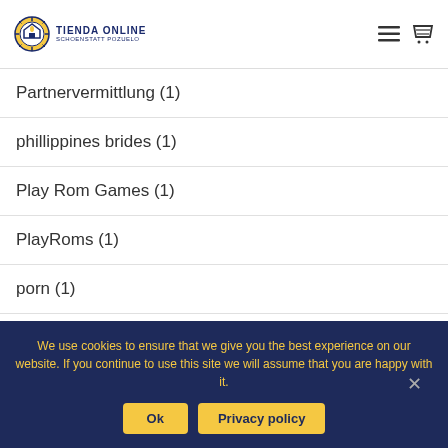TIENDA ONLINE SCHOENSTATT POZUELO
Partnervermittlung (1)
phillippines brides (1)
Play Rom Games (1)
PlayRoms (1)
porn (1)
Real Brides (1)
We use cookies to ensure that we give you the best experience on our website. If you continue to use this site we will assume that you are happy with it.
Ok  Privacy policy